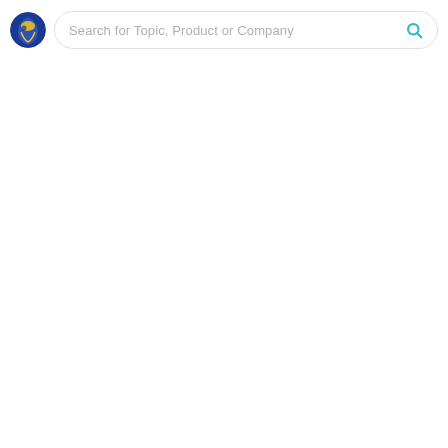[Figure (screenshot): Website header bar with a circular logo icon on the left and a rounded search input field containing placeholder text 'Search for Topic, Product or Company' with a teal search magnifying glass icon on the right.]